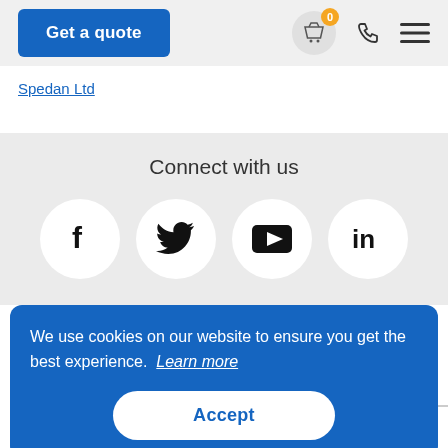Get a quote
Spedan Ltd
Connect with us
[Figure (illustration): Social media icons in white circles: Facebook (f), Twitter (bird), YouTube (play button), LinkedIn (in)]
We use cookies on our website to ensure you get the best experience. Learn more
Accept
UKAS MANAGEMENT